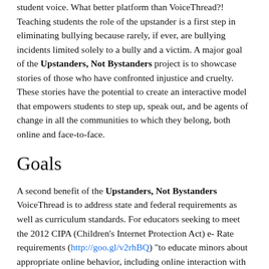student voice. What better platform than VoiceThread?! Teaching students the role of the upstander is a first step in eliminating bullying because rarely, if ever, are bullying incidents limited solely to a bully and a victim. A major goal of the Upstanders, Not Bystanders project is to showcase stories of those who have confronted injustice and cruelty. These stories have the potential to create an interactive model that empowers students to step up, speak out, and be agents of change in all the communities to which they belong, both online and face-to-face.
Goals
A second benefit of the Upstanders, Not Bystanders VoiceThread is to address state and federal requirements as well as curriculum standards. For educators seeking to meet the 2012 CIPA (Children's Internet Protection Act) e-Rate requirements (http://goo.gl/v2rhBQ) "to educate minors about appropriate online behavior, including online interaction with other individuals in social networking websites and in chat rooms and cyberbullying awareness